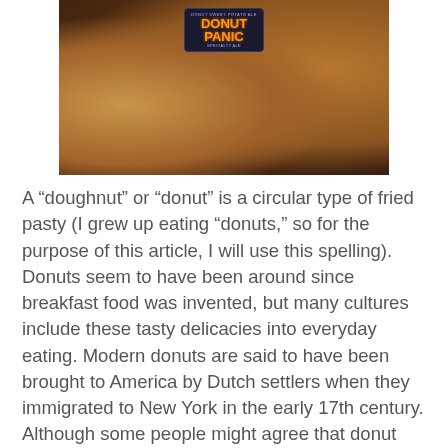[Figure (photo): Photo of a dark background with sweet potatoes or donuts and a can labeled 'Donut Panic Specialty Ale' with a planet/Saturn logo]
A “doughnut” or “donut” is a circular type of fried pasty (I grew up eating “donuts,” so for the purpose of this article, I will use this spelling). Donuts seem to have been around since breakfast food was invented, but many cultures include these tasty delicacies into everyday eating. Modern donuts are said to have been brought to America by Dutch settlers when they immigrated to New York in the early 17th century. Although some people might agree that donut day should be every day, the official National Donut Day takes place on the first Friday of every June. The origin of this day is said to derive from The Salvation Army during WWI in which they served donuts to soldiers. These baked goods